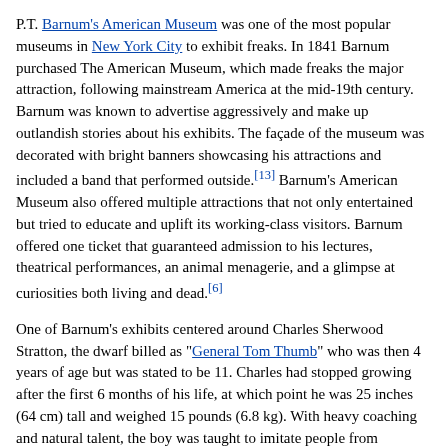P.T. Barnum's American Museum was one of the most popular museums in New York City to exhibit freaks. In 1841 Barnum purchased The American Museum, which made freaks the major attraction, following mainstream America at the mid-19th century. Barnum was known to advertise aggressively and make up outlandish stories about his exhibits. The façade of the museum was decorated with bright banners showcasing his attractions and included a band that performed outside.[13] Barnum's American Museum also offered multiple attractions that not only entertained but tried to educate and uplift its working-class visitors. Barnum offered one ticket that guaranteed admission to his lectures, theatrical performances, an animal menagerie, and a glimpse at curiosities both living and dead.[6]
One of Barnum's exhibits centered around Charles Sherwood Stratton, the dwarf billed as "General Tom Thumb" who was then 4 years of age but was stated to be 11. Charles had stopped growing after the first 6 months of his life, at which point he was 25 inches (64 cm) tall and weighed 15 pounds (6.8 kg). With heavy coaching and natural talent, the boy was taught to imitate people from Hercules to Napoleon. By 5, he was drinking wine, and by 7 smoking cigars for the public's amusement. During 1844–45, Barnum toured with Tom Thumb in Europe and met Queen Victoria, who was amused[15] and saddened by the little man, and